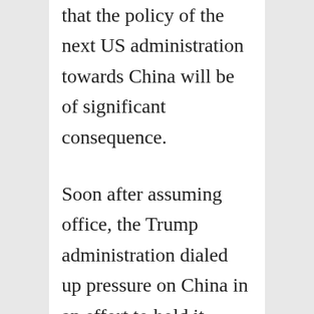that the policy of the next US administration towards China will be of significant consequence.
Soon after assuming office, the Trump administration dialed up pressure on China in an effort to hold it accountable to international standards of trade and commercial practice and to push back